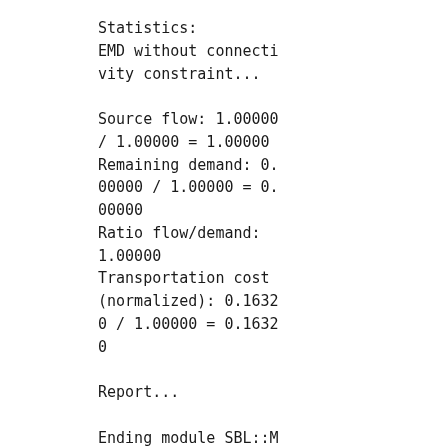Statistics:
EMD without connectivity constraint...

Source flow: 1.00000 / 1.00000 = 1.00000
Remaining demand: 0.00000 / 1.00000 = 0.00000
Ratio flow/demand: 1.00000
Transportation cost (normalized): 0.16320 / 1.00000 = 0.16320

Report...

Ending module SBL::Modules::T_Earth_mover_distance_module...